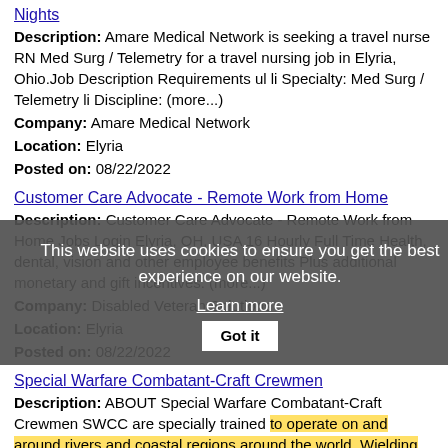Nights
Description: Amare Medical Network is seeking a travel nurse RN Med Surg / Telemetry for a travel nursing job in Elyria, Ohio.Job Description Requirements ul li Specialty: Med Surg / Telemetry li Discipline: (more...)
Company: Amare Medical Network
Location: Elyria
Posted on: 08/22/2022
Customer Care Advocate - Remote Work from Home
Description: Customer Care Advocate - Remote Work from Home Jobs Login Elyria, OH, USA 16 Hourly Full Time Health, dental, vision and other employee benefits Plus additional monetary and gift incentives. (more...)
Company: Disabled Veteran Solutions
Location: Elyria
Posted on: 08/22/2022
Special Warfare Combatant-Craft Crewmen
Description: ABOUT Special Warfare Combatant-Craft Crewmen SWCC are specially trained to operate on and around rivers and coastal regions around the world. Wielding extreme firepower and a deadly skill set, SWCC (more...)
Company: Navy
This website uses cookies to ensure you get the best experience on our website. Learn more Got it